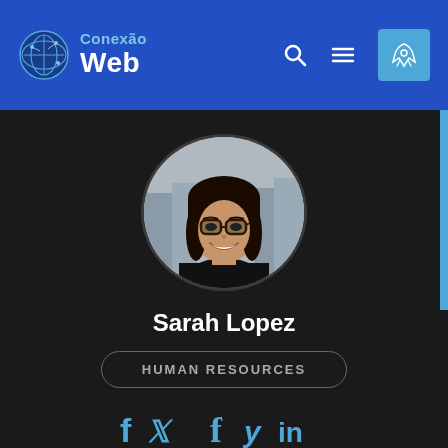Conexão Web
[Figure (photo): Circular profile photo of a young woman with glasses and long dark hair, smiling, wearing a black top, with a blurred urban background.]
Sarah Lopez
HUMAN RESOURCES
[Figure (infographic): Social media icons: Facebook (f), Twitter (bird), LinkedIn (in) in blue color]